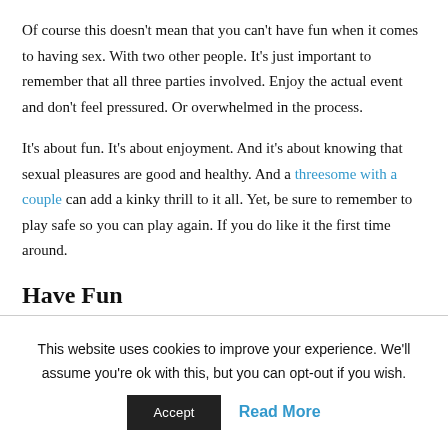Of course this doesn't mean that you can't have fun when it comes to having sex. With two other people. It's just important to remember that all three parties involved. Enjoy the actual event and don't feel pressured. Or overwhelmed in the process.
It's about fun. It's about enjoyment. And it's about knowing that sexual pleasures are good and healthy. And a threesome with a couple can add a kinky thrill to it all. Yet, be sure to remember to play safe so you can play again. If you do like it the first time around.
Have Fun
This website uses cookies to improve your experience. We'll assume you're ok with this, but you can opt-out if you wish.